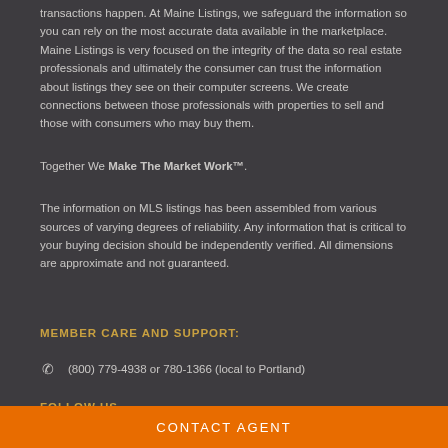transactions happen. At Maine Listings, we safeguard the information so you can rely on the most accurate data available in the marketplace. Maine Listings is very focused on the integrity of the data so real estate professionals and ultimately the consumer can trust the information about listings they see on their computer screens. We create connections between those professionals with properties to sell and those with consumers who may buy them.
Together We Make The Market Work™.
The information on MLS listings has been assembled from various sources of varying degrees of reliability. Any information that is critical to your buying decision should be independently verified. All dimensions are approximate and not guaranteed.
MEMBER CARE AND SUPPORT:
✆  (800) 779-4938 or 780-1366 (local to Portland)
FOLLOW US ...
CONTACT AGENT